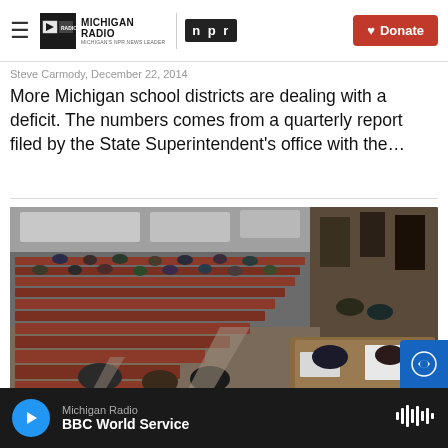Michigan Radio — NPR | Donate
Steve Carmody, December 22, 2014
More Michigan school districts are dealing with a deficit. The numbers comes from a quarterly report filed by the State Superintendent's office with the…
[Figure (photo): Interior of an auditorium with rows of red/brown seats, partially filled with attendees. A speaker or panel session appears to be in progress.]
Michigan Radio | BBC World Service